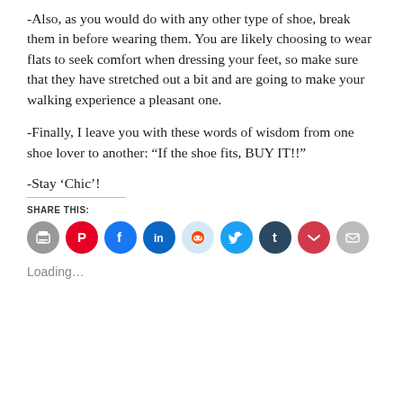-Also, as you would do with any other type of shoe, break them in before wearing them. You are likely choosing to wear flats to seek comfort when dressing your feet, so make sure that they have stretched out a bit and are going to make your walking experience a pleasant one.
-Finally, I leave you with these words of wisdom from one shoe lover to another: “If the shoe fits, BUY IT!!”
-Stay ‘Chic’!
SHARE THIS:
[Figure (infographic): Row of social sharing icon buttons: print (gray), Pinterest (red), Facebook (blue), LinkedIn (dark blue), Reddit (light blue), Twitter (blue), Tumblr (dark navy), Pocket (red), Email (gray)]
Loading…